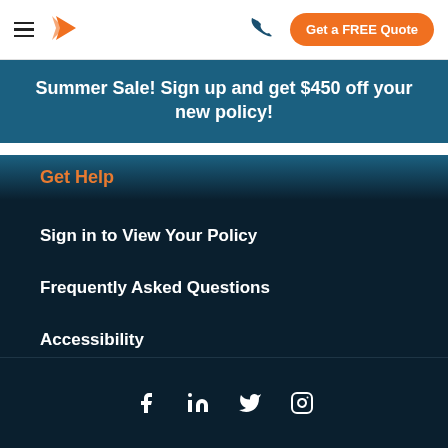Get a FREE Quote
Summer Sale! Sign up and get $450 off your new policy!
Get Help
Sign in to View Your Policy
Frequently Asked Questions
Accessibility
Contact Us
Facebook LinkedIn Twitter Instagram